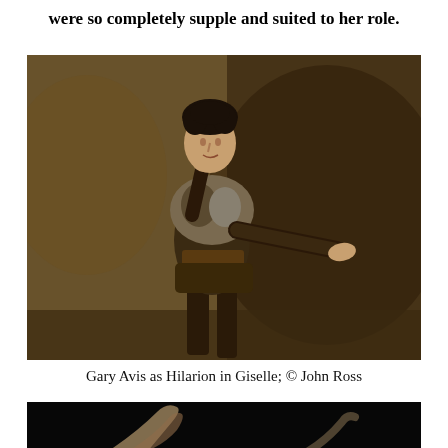were so completely supple and suited to her role.
[Figure (photo): Gary Avis as Hilarion in Giselle, wearing a fur-trimmed medieval costume, standing in a dramatic pose with one hand raised to his chin and the other extended outward. Dark atmospheric stage background.]
Gary Avis as Hilarion in Giselle; © John Ross
[Figure (photo): Partial view of a ballet performance, dark background with an arm/hand visible, appearing to be a second production photo.]